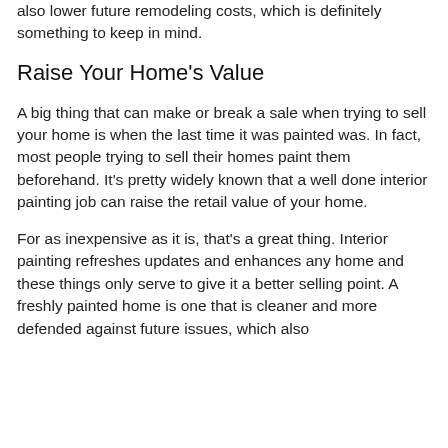also lower future remodeling costs, which is definitely something to keep in mind.
Raise Your Home's Value
A big thing that can make or break a sale when trying to sell your home is when the last time it was painted was. In fact, most people trying to sell their homes paint them beforehand. It's pretty widely known that a well done interior painting job can raise the retail value of your home.
For as inexpensive as it is, that's a great thing. Interior painting refreshes updates and enhances any home and these things only serve to give it a better selling point. A freshly painted home is one that is cleaner and more defended against future issues, which also